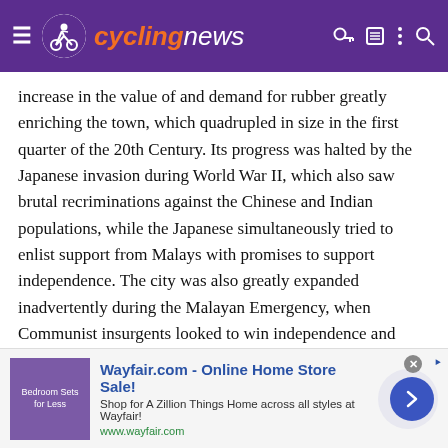cyclingnews
increase in the value of and demand for rubber greatly enriching the town, which quadrupled in size in the first quarter of the 20th Century. Its progress was halted by the Japanese invasion during World War II, which also saw brutal recriminations against the Chinese and Indian populations, while the Japanese simultaneously tried to enlist support from Malays with promises to support independence. The city was also greatly expanded inadvertently during the Malayan Emergency, when Communist insurgents looked to win independence and threatened to create a similar situation to that of Korea and later Vietnam, due to Britain's “new villages” policy which rather broadly resembled an internment camp to try to isolate guerrillas from their support - in practice this resettled large numbers of rural workers to newly-constructed gated communities on the outskirts of Kuala Lumpur. The gates are long gone, but today some 1,2 million people live in the 45 communities opened as “new villages” in the 1940s and 50s, with some 85% of them being of
[Figure (screenshot): Wayfair.com advertisement banner: thumbnail image of bedroom furniture, headline 'Wayfair.com - Online Home Store Sale!', subtext 'Shop for A Zillion Things Home across all styles at Wayfair!', URL www.wayfair.com, blue circular arrow button on right]